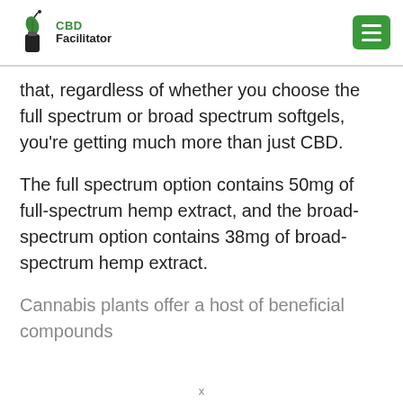CBD Facilitator
that, regardless of whether you choose the full spectrum or broad spectrum softgels, you're getting much more than just CBD.
The full spectrum option contains 50mg of full-spectrum hemp extract, and the broad-spectrum option contains 38mg of broad-spectrum hemp extract.
Cannabis plants offer a host of beneficial compounds